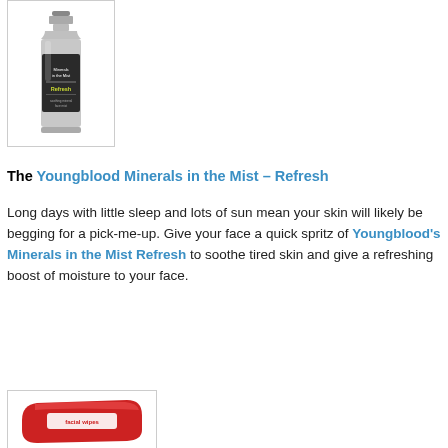[Figure (photo): Photo of Youngblood Minerals in the Mist Refresh spray bottle in silver/aluminum container with label]
The Youngblood Minerals in the Mist – Refresh
Long days with little sleep and lots of sun mean your skin will likely be begging for a pick-me-up. Give your face a quick spritz of Youngblood's Minerals in the Mist Refresh to soothe tired skin and give a refreshing boost of moisture to your face.
[Figure (photo): Photo of red packaged facial wipes product]